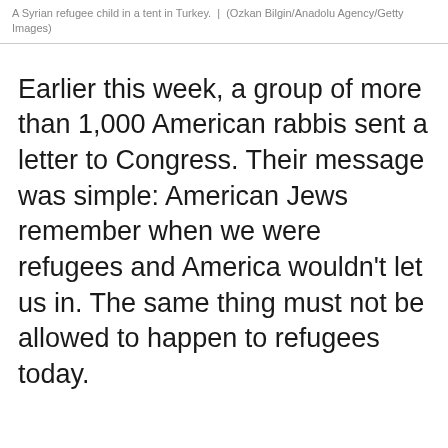A Syrian refugee child in a tent in Turkey.  |  (Ozkan Bilgin/Anadolu Agency/Getty Images)
Earlier this week, a group of more than 1,000 American rabbis sent a letter to Congress. Their message was simple: American Jews remember when we were refugees and America wouldn't let us in. The same thing must not be allowed to happen to refugees today.